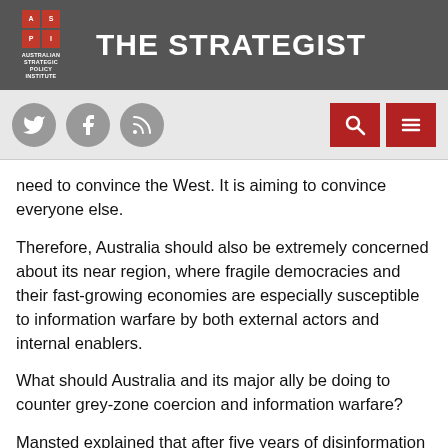THE STRATEGIST
need to convince the West. It is aiming to convince everyone else.
Therefore, Australia should also be extremely concerned about its near region, where fragile democracies and their fast-growing economies are especially susceptible to information warfare by both external actors and internal enablers.
What should Australia and its major ally be doing to counter grey-zone coercion and information warfare?
Mansted explained that after five years of disinformation wars, US Department of Justice investigations, comprehensive intelligence assessments and Senate inquiries on Russian foreign interference, the Biden administration is now viscerally aware of the threat. What's more, President Joe Biden has made